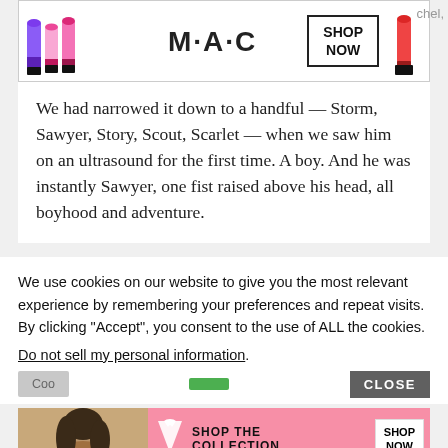[Figure (screenshot): MAC cosmetics advertisement banner with lipsticks and SHOP NOW button]
We had narrowed it down to a handful — Storm, Sawyer, Story, Scout, Scarlet — when we saw him on an ultrasound for the first time. A boy. And he was instantly Sawyer, one fist raised above his head, all boyhood and adventure.
We use cookies on our website to give you the most relevant experience by remembering your preferences and repeat visits. By clicking “Accept”, you consent to the use of ALL the cookies.
Do not sell my personal information.
[Figure (screenshot): Victoria's Secret advertisement banner with SHOP THE COLLECTION and SHOP NOW button]